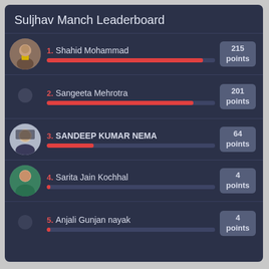Suljhav Manch Leaderboard
1. Shahid Mohammad — 215 points
2. Sangeeta Mehrotra — 201 points
3. SANDEEP KUMAR NEMA — 64 points
4. Sarita Jain Kochhal — 4 points
5. Anjali Gunjan nayak — 4 points